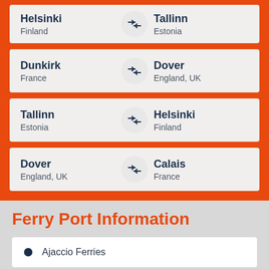Helsinki → Tallinn, Finland / Estonia (partial, top)
Dunkirk → Dover, France / England, UK
Tallinn → Helsinki, Estonia / Finland
Dover → Calais, England, UK / France
Ferry Port Information
Ajaccio Ferries